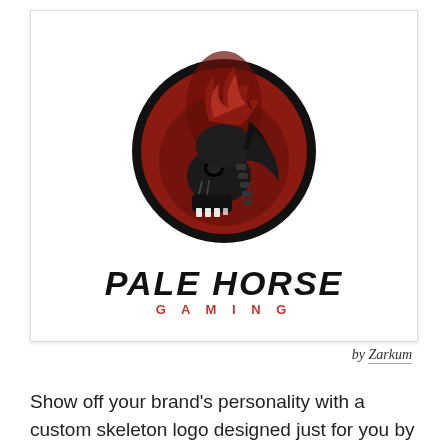[Figure (logo): Pale Horse Gaming logo: a skeletal horse head with flames inside a black circle, with bold gothic text 'PALE HORSE' and 'GAMING' in red below]
by Zarkum
Show off your brand's personality with a custom skeleton logo designed just for you by a professional designer. Need ideas? We've collected